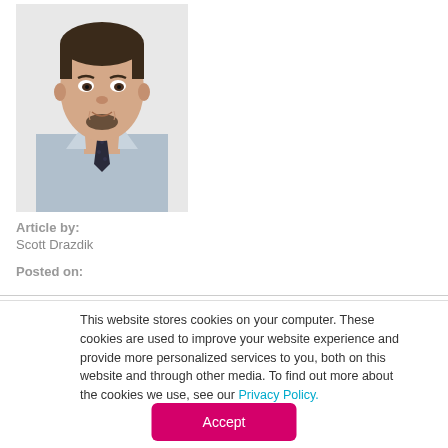[Figure (photo): Headshot of a young man with short dark hair and a goatee, wearing a light blue collared shirt and dark patterned tie, against a light background.]
Article by:
Scott Drazdik
Posted on:
This website stores cookies on your computer. These cookies are used to improve your website experience and provide more personalized services to you, both on this website and through other media. To find out more about the cookies we use, see our Privacy Policy.
Accept